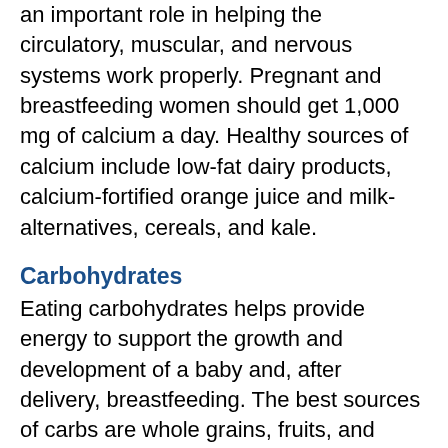an important role in helping the circulatory, muscular, and nervous systems work properly. Pregnant and breastfeeding women should get 1,000 mg of calcium a day. Healthy sources of calcium include low-fat dairy products, calcium-fortified orange juice and milk-alternatives, cereals, and kale.
Carbohydrates
Eating carbohydrates helps provide energy to support the growth and development of a baby and, after delivery, breastfeeding. The best sources of carbs are whole grains, fruits, and vegetables, which also are good sources of fiber. Try to limit refined carbs — like white flour and white rice — and added sugars.
Fiber
Fiber is a nutrient that can help ease the constipation that's common during pregnancy. Whole grains (like